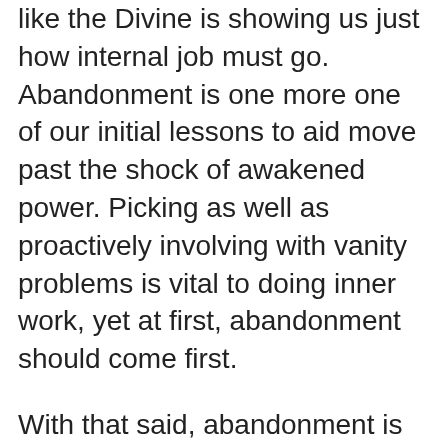like the Divine is showing us just how internal job must go. Abandonment is one more one of our initial lessons to aid move past the shock of awakened power. Picking as well as proactively involving with vanity problems is vital to doing inner work, yet at first, abandonment should come first.
With that said, abandonment is not laziness. When you surrender to the river, you allow it pull in the direction it intends to go. As you feel just how it is moving you, you additionally swim. If you don't learn to swim, you're going to get struck a great deal of things!
To Go More In depth about Fluctuating Moods Spiritual Awakening keep reading.